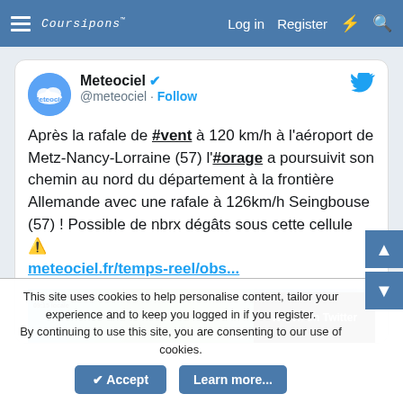Coursipons | Log in | Register
[Figure (screenshot): Tweet by @meteociel about storm wind gusts at Metz-Nancy-Lorraine airport and Seingbouse with embedded weather radar image]
This site uses cookies to help personalise content, tailor your experience and to keep you logged in if you register. By continuing to use this site, you are consenting to our use of cookies.